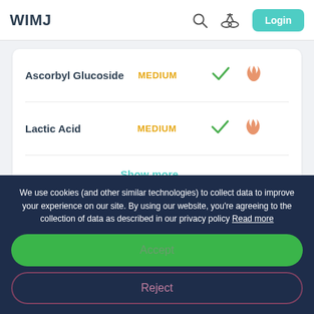WIMJ
| Ingredient | Efficacy | Evidence | Irritancy |
| --- | --- | --- | --- |
| Ascorbyl Glucoside | MEDIUM | ✓ | 🔥 |
| Lactic Acid | MEDIUM | ✓ | 🔥 |
Show more
We use cookies (and other similar technologies) to collect data to improve your experience on our site. By using our website, you're agreeing to the collection of data as described in our privacy policy Read more
Accept
Reject